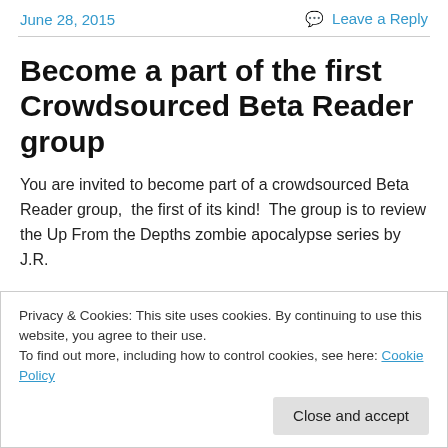June 28, 2015    Leave a Reply
Become a part of the first Crowdsourced Beta Reader group
You are invited to become part of a crowdsourced Beta Reader group,  the first of its kind!  The group is to review the Up From the Depths zombie apocalypse series by J.R. Jackson. Someone's text continues below...
Privacy & Cookies: This site uses cookies. By continuing to use this website, you agree to their use.
To find out more, including how to control cookies, see here: Cookie Policy
Close and accept